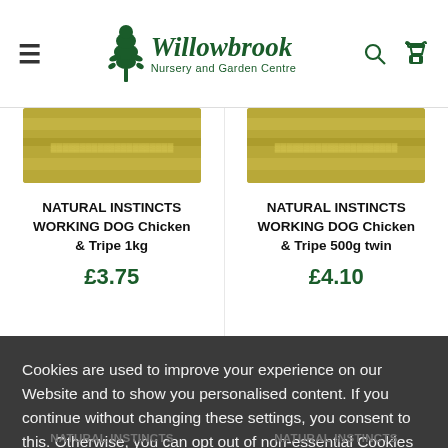Willowbrook Nursery and Garden Centre
[Figure (screenshot): Product image top strip for Natural Instincts Working Dog Chicken & Tripe 1kg]
NATURAL INSTINCTS WORKING DOG Chicken & Tripe 1kg
£3.75
[Figure (screenshot): Product image top strip for Natural Instincts Working Dog Chicken & Tripe 500g twin]
NATURAL INSTINCTS WORKING DOG Chicken & Tripe 500g twin
£4.10
Cookies are used to improve your experience on our Website and to show you personalised content. If you continue without changing these settings, you consent to this. Otherwise, you can opt out of non-essential Cookies by clicking here.
ACCEPT AND CLOSE
NATURAL INSTINCTS
NATURAL INSTINCTS